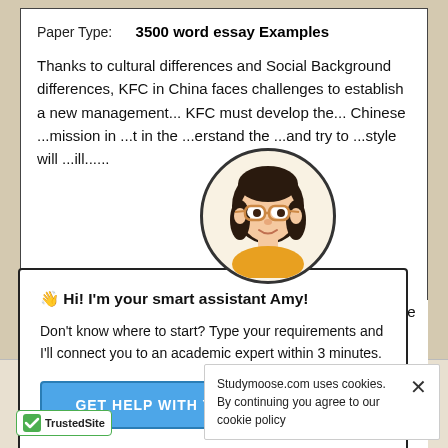Paper Type:    3500 word essay Examples
Thanks to cultural differences and Social Background differences, KFC in China faces challenges to establish a new management... KFC must develop the... Chinese ...mission in ...t in the ...erstand the ...and try to ...style will ...ill......
[Figure (illustration): Animated avatar of a girl with dark hair, glasses, and yellow top inside a circle]
👋 Hi! I'm your smart assistant Amy!
Don't know where to start? Type your requirements and I'll connect you to an academic expert within 3 minutes.
GET HELP WITH YOUR ASSIGNMENT
Channels
Studymoose.com uses cookies. By continuing you agree to our cookie policy
TrustedSite